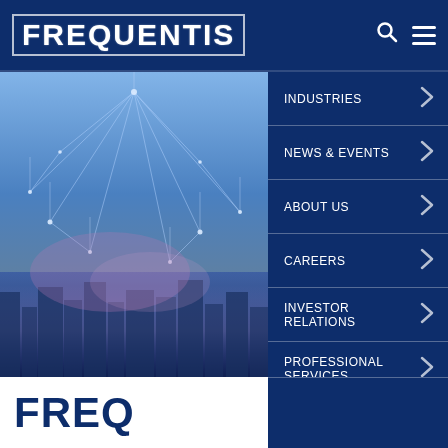FREQUENTIS
[Figure (photo): Technology network visualization with glowing connection lines over a cityscape, blue tones]
INDUSTRIES
NEWS & EVENTS
ABOUT US
CAREERS
INVESTOR RELATIONS
PROFESSIONAL SERVICES
SPRACHE
FREQ